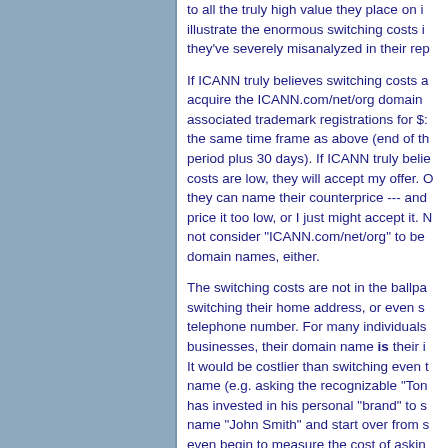to all the truly high value they place on it — to illustrate the enormous switching costs in — they've severely misanalyzed in their rep
If ICANN truly believes switching costs a — acquire the ICANN.com/net/org domain — associated trademark registrations for $: the same time frame as above (end of th — period plus 30 days). If ICANN truly belie — costs are low, they will accept my offer. O — they can name their counterprice --- and — price it too low, or I just might accept it. N — not consider "ICANN.com/net/org" to be — domain names, either.
The switching costs are not in the ballpa — switching their home address, or even s — telephone number. For many individuals — businesses, their domain name is their i — It would be costlier than switching even — name (e.g. asking the recognizable "Ton — has invested in his personal "brand" to s — name "John Smith" and start over from s — even begin to measure the cost of askin — to switch to something like NewCo.web) — destroy years of goodwill investment. It v — bankruptcy for many.
Has the author of this report ever provid —